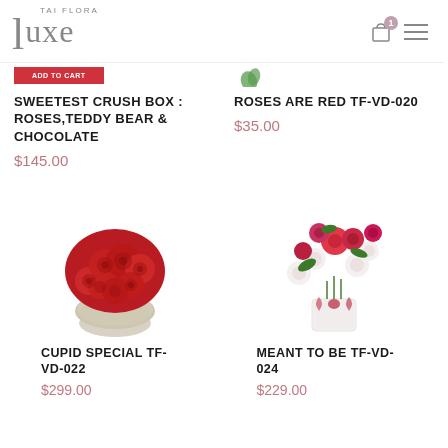TAI FLORA luxe
SWEETEST CRUSH BOX : ROSES,TEDDY BEAR & CHOCOLATE
$145.00
ROSES ARE RED TF-VD-020
$35.00
[Figure (photo): Round vase with dome arrangement of red roses]
CUPID SPECIAL TF-VD-022
$299.00
[Figure (photo): Glass vase with red roses and white flowers with pink bow]
MEANT TO BE TF-VD-024
$229.00